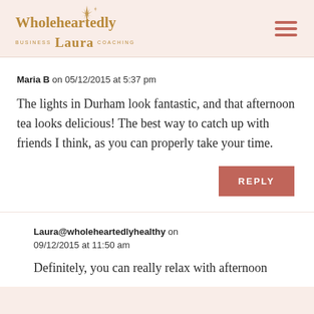Wholeheartedly Laura Business Coaching
Maria B on 05/12/2015 at 5:37 pm

The lights in Durham look fantastic, and that afternoon tea looks delicious! The best way to catch up with friends I think, as you can properly take your time.
REPLY
Laura@wholeheartedlyhealthy on 09/12/2015 at 11:50 am

Definitely, you can really relax with afternoon